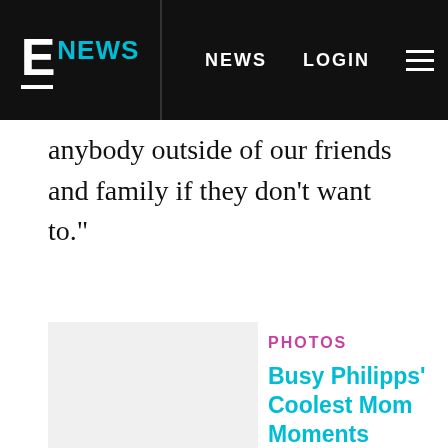E NEWS  NEWS  LOGIN
anybody outside of our friends and family if they don't want to."
[Figure (photo): Gray placeholder image thumbnail for photo gallery]
PHOTOS
Busy Philipps' Coolest Mom Moments